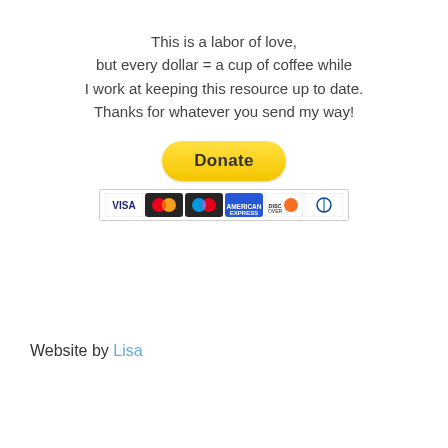This is a labor of love, but every dollar = a cup of coffee while I work at keeping this resource up to date. Thanks for whatever you send my way!
[Figure (other): PayPal Donate button with payment card icons (Visa, Mastercard, Maestro, American Express, Discover, Diners Club)]
Website by Lisa